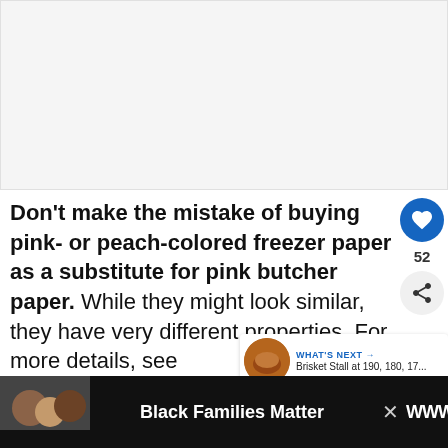[Figure (photo): Image placeholder area at top of article page, light gray background]
Don't make the mistake of buying pink- or peach-colored freezer paper as a substitute for pink butcher paper. While they might look similar, they have very different properties. For more details, see How to Wrap Brisket in Freezer Paper?
[Figure (infographic): Social panel with heart/like button (blue circle), count 52, and share button]
[Figure (photo): What's Next panel: Brisket Stall at 190, 180, 17... with thumbnail of brisket]
[Figure (screenshot): Ad banner: Black Families Matter with photo of family and close button]